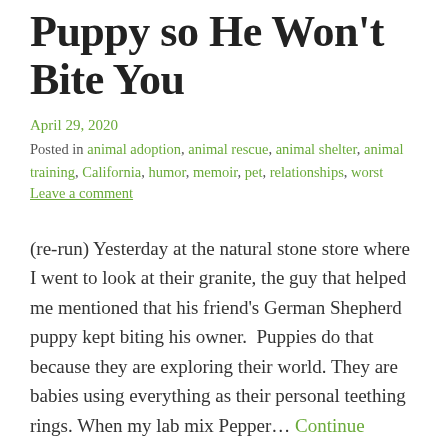Puppy so He Won't Bite You
April 29, 2020
Posted in animal adoption, animal rescue, animal shelter, animal training, California, humor, memoir, pet, relationships, worst
Leave a comment
(re-run) Yesterday at the natural stone store where I went to look at their granite, the guy that helped me mentioned that his friend's German Shepherd puppy kept biting his owner.  Puppies do that because they are exploring their world. They are babies using everything as their personal teething rings. When my lab mix Pepper… Continue reading